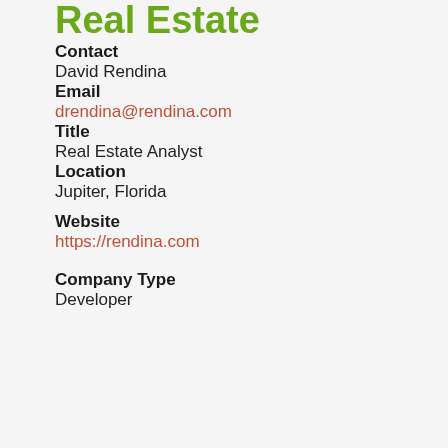Real Estate
Contact
David Rendina
Email
drendina@rendina.com
Title
Real Estate Analyst
Location
Jupiter, Florida
Website
https://rendina.com
Company Type
Developer